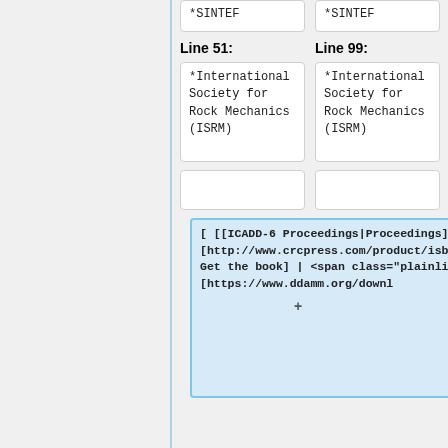*SINTEF
*SINTEF
Line 51:
Line 99:
*International Society for Rock Mechanics (ISRM)
*International Society for Rock Mechanics (ISRM)
[ [[ICADD-6 Proceedings|Proceedings]] | [http://www.crcpress.com/product/isbn/9789058096104 Get the book] | <span class="plainlinks"> [https://www.ddamm.org/downl
+